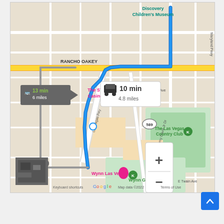[Figure (map): Google Maps screenshot showing a driving route in Las Vegas, NV. Route goes from a starting point near Wynn Las Vegas northward along Las Vegas Blvd/Las Vegas Fwy to Discovery Children's Museum. Two route options shown: 10 min / 4.8 miles (selected, blue highlighted) and 13 min / 6 miles (alternative). Landmarks visible include The STRAT Hotel Casino & SkyPod, The Las Vegas Country Club, Wynn Las Vegas, Wynn Golf Club, and street labels including Rancho Oakey, E St Louis Ave, Maryland Pkwy, S Sammy Davis Jr Dr. Map data ©2022 Google. Zoom controls (+/-) visible. Satellite thumbnail in bottom-left corner.]